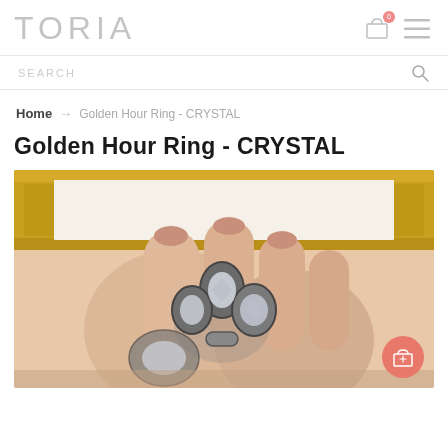TORIA
SEARCH
Home → Golden Hour Ring - CRYSTAL
Golden Hour Ring - CRYSTAL
[Figure (photo): Close-up photo of a hand wearing a crystal flower ring, with golden ornate mirror in the background. The ring features silver-toned petals with large crystal gemstones.]